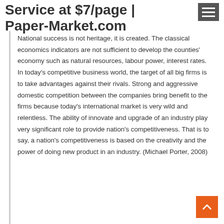Service at $7/page | Paper-Market.com
National success is not heritage, it is created. The classical economics indicators are not sufficient to develop the counties' economy such as natural resources, labour power, interest rates. In today's competitive business world, the target of all big firms is to take advantages against their rivals. Strong and aggressive domestic competition between the companies bring benefit to the firms because today's international market is very wild and relentless. The ability of innovate and upgrade of an industry play very significant role to provide nation's competitiveness. That is to say, a nation's competitiveness is based on the creativity and the power of doing new product in an industry. (Michael Porter, 2008)